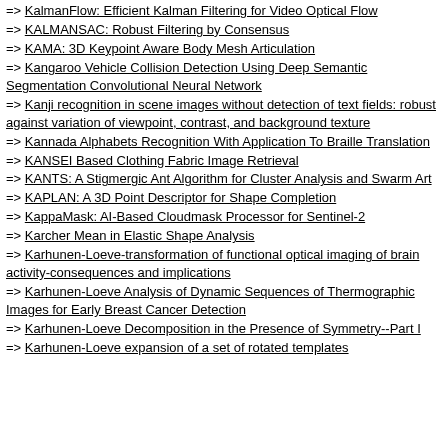=> KalmanFlow: Efficient Kalman Filtering for Video Optical Flow
=> KALMANSAC: Robust Filtering by Consensus
=> KAMA: 3D Keypoint Aware Body Mesh Articulation
=> Kangaroo Vehicle Collision Detection Using Deep Semantic Segmentation Convolutional Neural Network
=> Kanji recognition in scene images without detection of text fields: robust against variation of viewpoint, contrast, and background texture
=> Kannada Alphabets Recognition With Application To Braille Translation
=> KANSEI Based Clothing Fabric Image Retrieval
=> KANTS: A Stigmergic Ant Algorithm for Cluster Analysis and Swarm Art
=> KAPLAN: A 3D Point Descriptor for Shape Completion
=> KappaMask: AI-Based Cloudmask Processor for Sentinel-2
=> Karcher Mean in Elastic Shape Analysis
=> Karhunen-Loeve-transformation of functional optical imaging of brain activity-consequences and implications
=> Karhunen-Loeve Analysis of Dynamic Sequences of Thermographic Images for Early Breast Cancer Detection
=> Karhunen-Loeve Decomposition in the Presence of Symmetry--Part I
=> Karhunen-Loeve expansion of a set of rotated templates